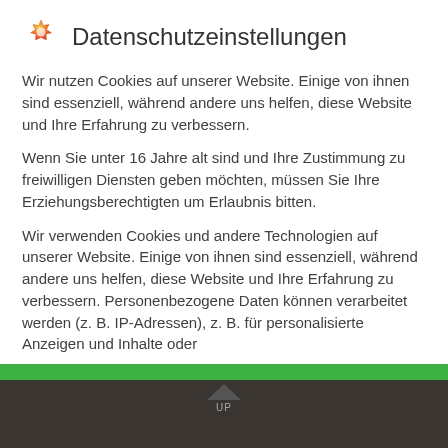Datenschutzeinstellungen
Wir nutzen Cookies auf unserer Website. Einige von ihnen sind essenziell, während andere uns helfen, diese Website und Ihre Erfahrung zu verbessern.
Wenn Sie unter 16 Jahre alt sind und Ihre Zustimmung zu freiwilligen Diensten geben möchten, müssen Sie Ihre Erziehungsberechtigten um Erlaubnis bitten.
Wir verwenden Cookies und andere Technologien auf unserer Website. Einige von ihnen sind essenziell, während andere uns helfen, diese Website und Ihre Erfahrung zu verbessern. Personenbezogene Daten können verarbeitet werden (z. B. IP-Adressen), z. B. für personalisierte Anzeigen und Inhalte oder
Essenziell
Externe Medien